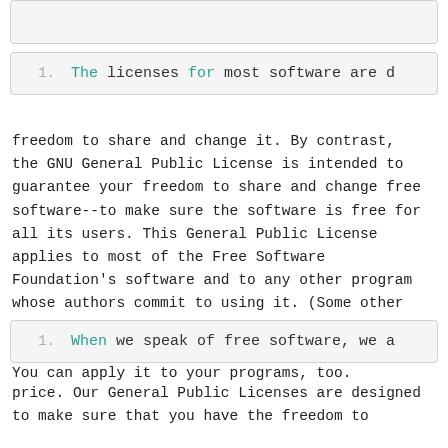(top code box - partially visible, cut off at top)
1.    The licenses for most software are d
freedom to share and change it. By contrast, the GNU General Public License is intended to guarantee your freedom to share and change free software--to make sure the software is free for all its users. This General Public License applies to most of the Free Software Foundation's software and to any other program whose authors commit to using it. (Some other Free Software Foundation software is covered by the GNU Lesser General Public License instead.) You can apply it to your programs, too.
1.    When we speak of free software, we a
price. Our General Public Licenses are designed to make sure that you have the freedom to